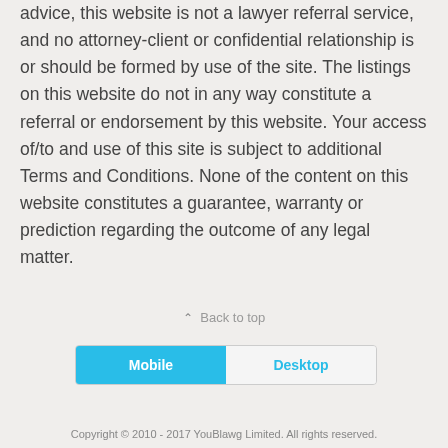advice, this website is not a lawyer referral service, and no attorney-client or confidential relationship is or should be formed by use of the site. The listings on this website do not in any way constitute a referral or endorsement by this website. Your access of/to and use of this site is subject to additional Terms and Conditions. None of the content on this website constitutes a guarantee, warranty or prediction regarding the outcome of any legal matter.
⌃ Back to top
Mobile | Desktop
Copyright © 2010 - 2017 YouBlawg Limited. All rights reserved.